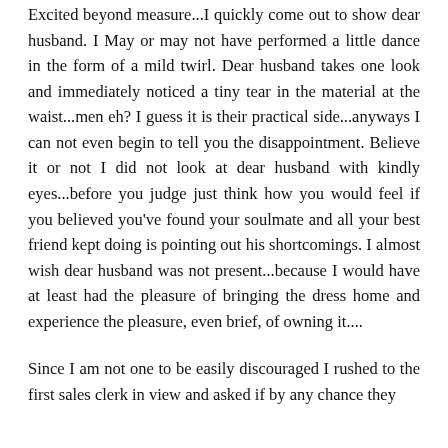Excited beyond measure...I quickly come out to show dear husband. I May or may not have performed a little dance in the form of a mild twirl. Dear husband takes one look and immediately noticed a tiny tear in the material at the waist...men eh? I guess it is their practical side...anyways I can not even begin to tell you the disappointment. Believe it or not I did not look at dear husband with kindly eyes...before you judge just think how you would feel if you believed you've found your soulmate and all your best friend kept doing is pointing out his shortcomings. I almost wish dear husband was not present...because I would have at least had the pleasure of bringing the dress home and experience the pleasure, even brief, of owning it....
Since I am not one to be easily discouraged I rushed to the first sales clerk in view and asked if by any chance they